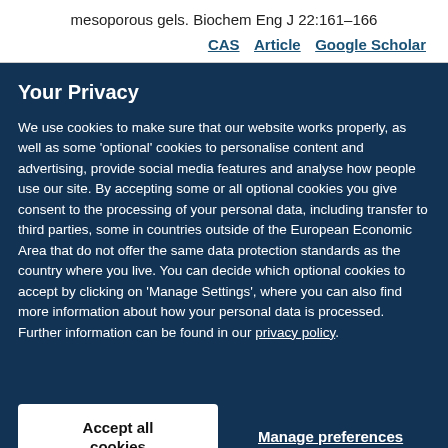mesoporous gels. Biochem Eng J 22:161–166
CAS   Article   Google Scholar
Your Privacy
We use cookies to make sure that our website works properly, as well as some 'optional' cookies to personalise content and advertising, provide social media features and analyse how people use our site. By accepting some or all optional cookies you give consent to the processing of your personal data, including transfer to third parties, some in countries outside of the European Economic Area that do not offer the same data protection standards as the country where you live. You can decide which optional cookies to accept by clicking on 'Manage Settings', where you can also find more information about how your personal data is processed. Further information can be found in our privacy policy.
Accept all cookies
Manage preferences